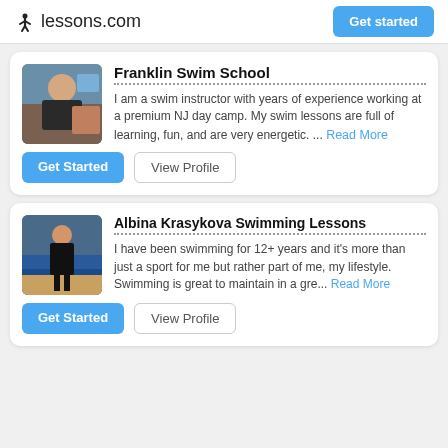lessons.com  Get started
Franklin Swim School
I am a swim instructor with years of experience working at a premium NJ day camp. My swim lessons are full of learning, fun, and are very energetic. ... Read More
Albina Krasykova Swimming Lessons
I have been swimming for 12+ years and it's more than just a sport for me but rather part of me, my lifestyle. Swimming is great to maintain in a gre... Read More